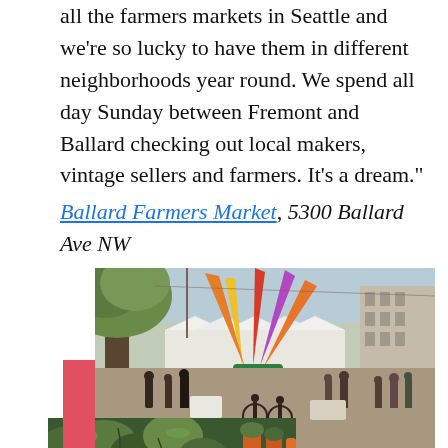all the farmers markets in Seattle and we’re so lucky to have them in different neighborhoods year round. We spend all day Sunday between Fremont and Ballard checking out local makers, vintage sellers and farmers. It’s a dream.”
Ballard Farmers Market, 5300 Ballard Ave NW
[Figure (photo): Outdoor farmers market street scene with colorful decorative spikes/sculpture in yellow, orange, red, and purple rising from the center, crowds of people walking and cycling, white vendor tents lining the street, trees, and a historic building in the background.]
[Figure (photo): Close-up photo of fresh green vegetables and produce at a market stall, with orange/yellow root vegetables visible at the right edge.]